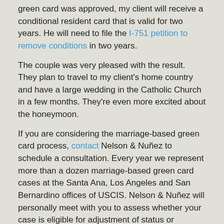green card was approved, my client will receive a conditional resident card that is valid for two years. He will need to file the I-751 petition to remove conditions in two years.
The couple was very pleased with the result. They plan to travel to my client's home country and have a large wedding in the Catholic Church in a few months. They're even more excited about the honeymoon.
If you are considering the marriage-based green card process, contact Nelson & Nuñez to schedule a consultation. Every year we represent more than a dozen marriage-based green card cases at the Santa Ana, Los Angeles and San Bernardino offices of USCIS. Nelson & Nuñez will personally meet with you to assess whether your case is eligible for adjustment of status or consular processing.
Categories: : adjustment of status, good faith marriage, green card, I-130, I-485, Irvine, marriage, Santa Ana, USCIS, visa petition
[Figure (other): Social sharing buttons: Facebook Like (0) and Twitter Tweet]
0 Comments